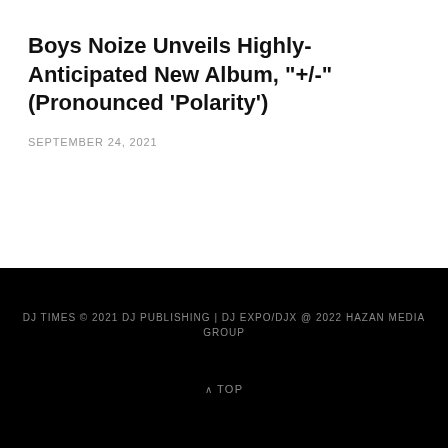Boys Noize Unveils Highly-Anticipated New Album, "+/-" (Pronounced 'Polarity')
SEPTEMBER 24, 2021
DJ TIMES © 2021 DJ PUBLISHING | DJ EXPO/DJX @ 2022 HAZAN MEDIA GROUP
^ TOP